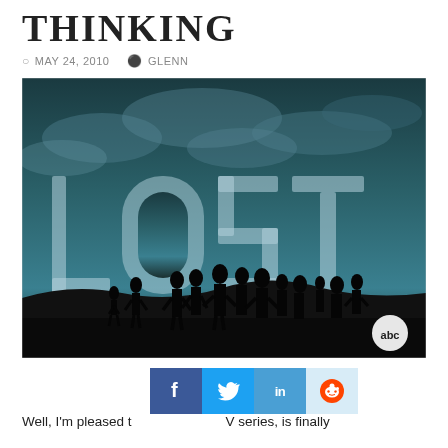THINKING
MAY 24, 2010   GLENN
[Figure (photo): Promotional poster for the ABC TV series LOST showing silhouettes of characters standing on a hilltop with large letters spelling LOST in the background against a dramatic sky. ABC logo visible in bottom right corner.]
Well, I'm pleased t[o share that this T]V series, is finally